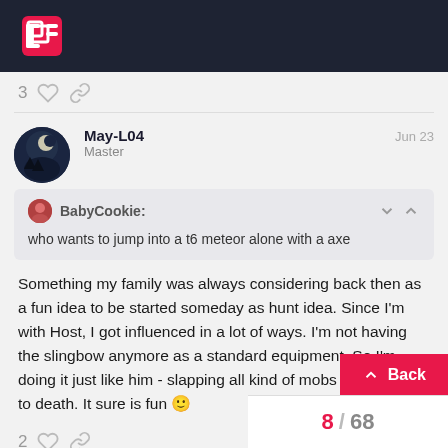Forum page header with logo
3 likes and link icons
May-L04 Master Jun 23
BabyCookie: who wants to jump into a t6 meteor alone with a axe
Something my family was always considering back then as a fun idea to be started someday as hunt idea. Since I'm with Host, I got influenced in a lot of ways. I'm not having the slingbow anymore as a standard equipment. So I'm doing it just like him - slapping all kind of mobs with a totem to death. It sure is fun 🙂
2 likes and link icons
Back
8 / 68